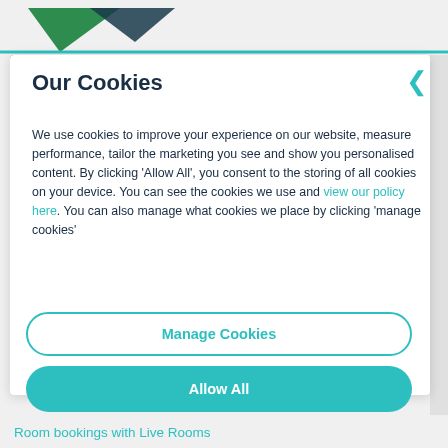[Figure (logo): Green and teal decorative logo triangles at top left with teal horizontal bar]
Our Cookies
We use cookies to improve your experience on our website, measure performance, tailor the marketing you see and show you personalised content. By clicking ‘Allow All’, you consent to the storing of all cookies on your device. You can see the cookies we use and view our policy here. You can also manage what cookies we place by clicking ‘manage cookies’
Manage Cookies
Allow All
Room bookings with Live Rooms